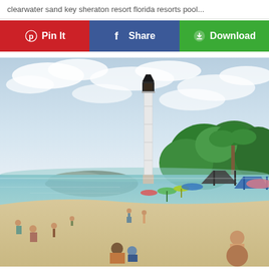clearwater sand key sheraton resort florida resorts pool...
[Figure (infographic): Three action buttons: Pin It (red, Pinterest), Share (blue, Facebook), Download (green)]
[Figure (photo): Beach scene with a tall white lighthouse, beachgoers on sandy shore, colorful umbrellas and canopies, calm turquoise water, palm trees and green foliage in background, cloudy sky]